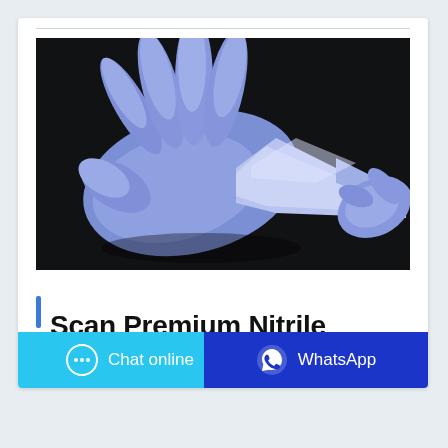[Figure (photo): Close-up photo of blue/purple nitrile gloves being stretched on a dark black background. One hand wearing the glove is spread open showing fingers, while another gloved hand pulls and stretches the glove material.]
Scan Premium Nitrile
Chat online
WhatsApp